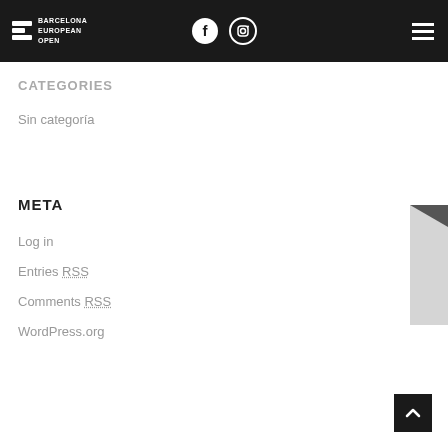Barcelona European Open — header with logo, Facebook icon, Instagram icon, hamburger menu
CATEGORIES
Sin categoría
META
Log in
Entries RSS
Comments RSS
WordPress.org
[Figure (other): Tickets vertical tab on right side]
[Figure (other): Back to top button (arrow up)]